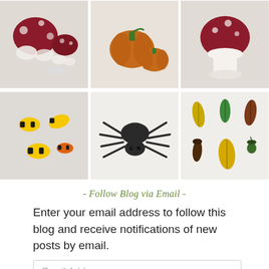[Figure (photo): Grid of six crochet craft photos: top row shows red mushrooms, orange pumpkins, red mushroom with white base; bottom row shows crocheted bees, a black spider, and autumn leaves/acorns]
- Follow Blog via Email -
Enter your email address to follow this blog and receive notifications of new posts by email.
Email Address
SIGN ME UP!